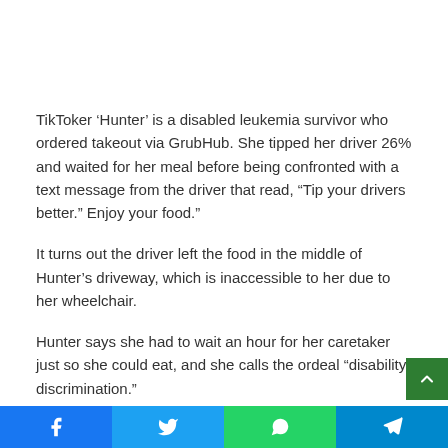TikToker ‘Hunter’ is a disabled leukemia survivor who ordered takeout via GrubHub. She tipped her driver 26% and waited for her meal before being confronted with a text message from the driver that read, “Tip your drivers better.” Enjoy your food.”
It turns out the driver left the food in the middle of Hunter’s driveway, which is inaccessible to her due to her wheelchair.
Hunter says she had to wait an hour for her caretaker just so she could eat, and she calls the ordeal “disability discrimination.”